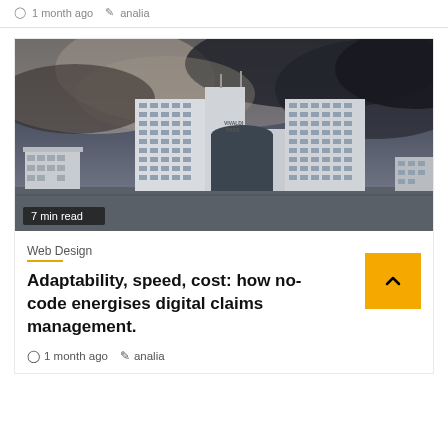1 month ago  analia
[Figure (photo): Aerial/ground-level photograph of a large white hotel building (Vivaldi Park) with dark stormy clouds overhead, dramatic moody sky. Badge overlay reads '7 min read'.]
7 min read
Web Design
Adaptability, speed, cost: how no-code energises digital claims management.
1 month ago  analia